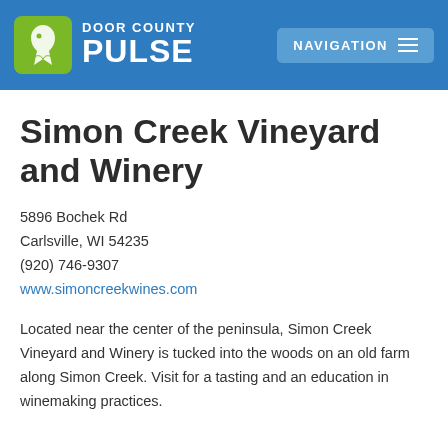Door County Pulse — Navigation
Simon Creek Vineyard and Winery
5896 Bochek Rd
Carlsville, WI 54235
(920) 746-9307
www.simoncreekwines.com
Located near the center of the peninsula, Simon Creek Vineyard and Winery is tucked into the woods on an old farm along Simon Creek. Visit for a tasting and an education in winemaking practices.